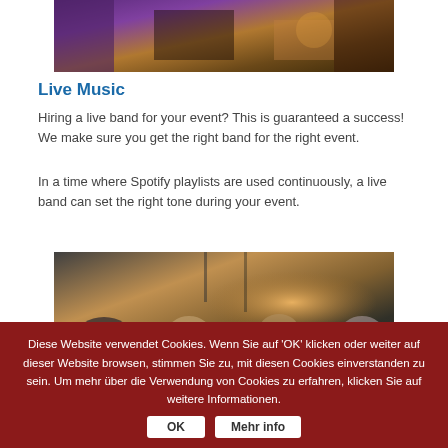[Figure (photo): A stage scene with purple/blue lighting and warm amber lighting on equipment in background]
Live Music
Hiring a live band for your event? This is guaranteed a success! We make sure you get the right band for the right event.
In a time where Spotify playlists are used continuously, a live band can set the right tone during your event.
[Figure (photo): People at an event/party, seen from behind and side, gathered in a room with warm ambient lighting]
Diese Website verwendet Cookies. Wenn Sie auf 'OK' klicken oder weiter auf dieser Website browsen, stimmen Sie zu, mit diesen Cookies einverstanden zu sein. Um mehr über die Verwendung von Cookies zu erfahren, klicken Sie auf weitere Informationen.